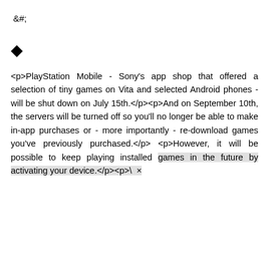&#;
◆
<p>PlayStation Mobile - Sony's app shop that offered a selection of tiny games on Vita and selected Android phones - will be shut down on July 15th.</p><p>And on September 10th, the servers will be turned off so you'll no longer be able to make in-app purchases or - more importantly - re-download games you've previously purchased.</p><p>However, it will be possible to keep playing installed games in the future by activating your device.</p><p>\ ×